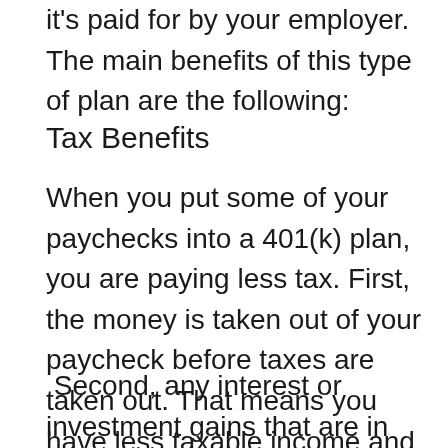it's paid for by your employer. The main benefits of this type of plan are the following:
Tax Benefits
When you put some of your paychecks into a 401(k) plan, you are paying less tax. First, the money is taken out of your paycheck before taxes are taken out. That means you have less taxable income and that lowers how much tax you pay.
Second, any interest or investment gains that are in your account aren't taxed when they're earned. You'll pay taxes on them only if you